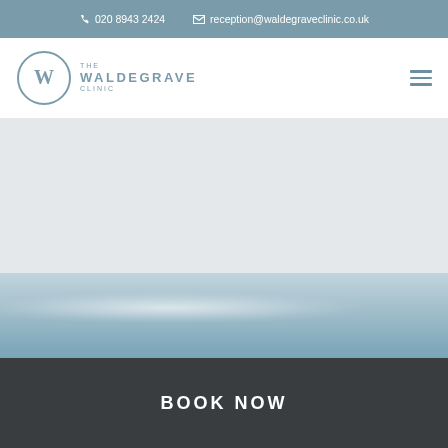📞 020 8943 2424   ✉ reception@waldegraveclinic.co.uk
[Figure (logo): The Waldegrave Clinic circular logo with W monogram and text 'THE WALDEGRAVE CLINIC']
[Figure (photo): Blurred abstract background image of calm water or sea, light blue tones, used as hero banner]
BOOK NOW